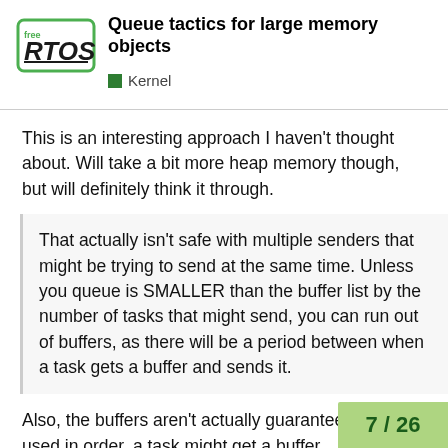Queue tactics for large memory objects
Kernel
This is an interesting approach I haven't thought about. Will take a bit more heap memory though, but will definitely think it through.
That actually isn't safe with multiple senders that might be trying to send at the same time. Unless you queue is SMALLER than the buffer list by the number of tasks that might send, you can run out of buffers, as there will be a period between when a task gets a buffer and sends it.
Also, the buffers aren't actually guaranteed to be used in order, a task might get a buffer
7 / 26